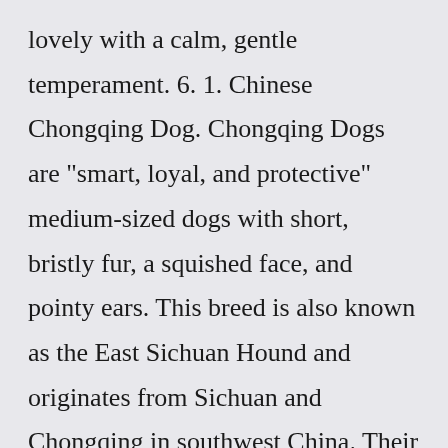lovely with a calm, gentle temperament. 6. 1. Chinese Chongqing Dog. Chongqing Dogs are "smart, loyal, and protective" medium-sized dogs with short, bristly fur, a squished face, and pointy ears. This breed is also known as the East Sichuan Hound and originates from Sichuan and Chongqing in southwest China. Their coat color is reddish-brown or a dark brown color.breed big black fluffy dog Asked Chauncey